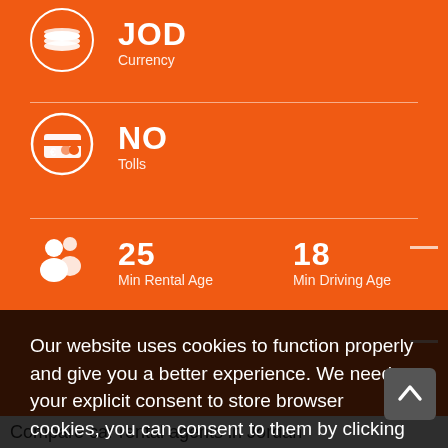JOD
Currency
NO
Tolls
25
Min Rental Age
18
Min Driving Age
Our website uses cookies to function properly and give you a better experience. We need your explicit consent to store browser cookies, you can consent to them by clicking 'Allow cookies'. To find our more or see our Cookie Policy.
Learn more
Allow Cookies
Compare car rental agents in Jordan